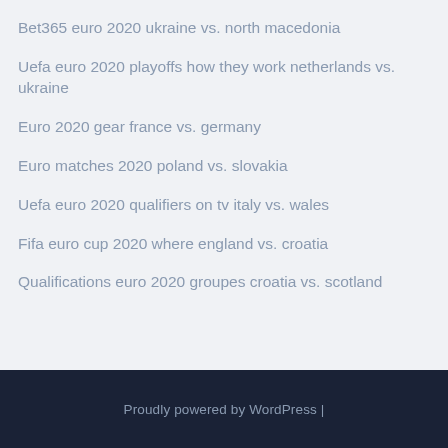Bet365 euro 2020 ukraine vs. north macedonia
Uefa euro 2020 playoffs how they work netherlands vs. ukraine
Euro 2020 gear france vs. germany
Euro matches 2020 poland vs. slovakia
Uefa euro 2020 qualifiers on tv italy vs. wales
Fifa euro cup 2020 where england vs. croatia
Qualifications euro 2020 groupes croatia vs. scotland
Proudly powered by WordPress |